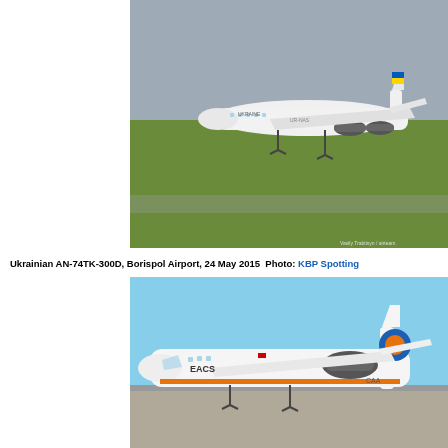[Figure (photo): Ukrainian AN-74TK-300D aircraft taking off or landing at Borispol Airport, viewed from the side. White aircraft with Ukrainian flag on tail. Green grass and grey runway visible.]
Ukrainian AN-74TK-300D, Borispol Airport, 24 May 2015  Photo: KBP Spotting
[Figure (photo): EACS-branded aircraft (white with orange stripe) parked on tarmac, viewed from the side. Clear blue sky background. Tail registration partially visible as CAA.]